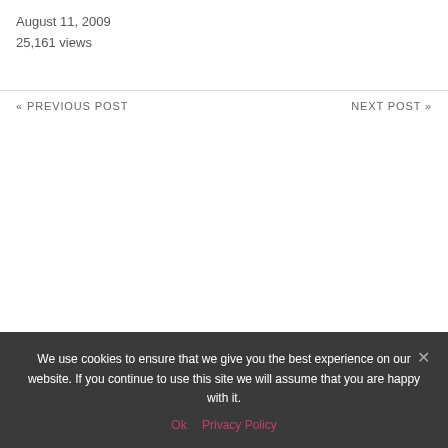August 11, 2009
25,161 views
« PREVIOUS POST
NEXT POST »
We use cookies to ensure that we give you the best experience on our website. If you continue to use this site we will assume that you are happy with it.
Ok   Privacy Policy